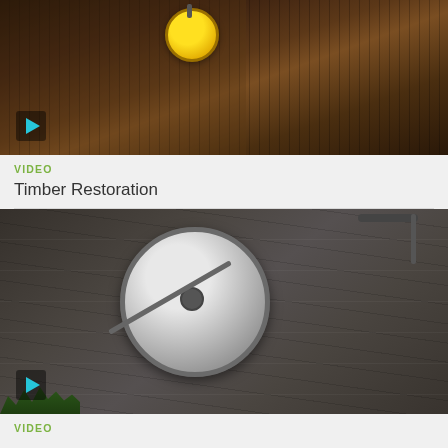[Figure (photo): Video thumbnail showing a wooden deck being cleaned with a yellow rotary surface cleaner pressure washer attachment. A play button icon is visible in the lower left corner.]
VIDEO
Timber Restoration
[Figure (photo): Video thumbnail showing a stone or concrete surface being cleaned with a silver round surface cleaner (pressure washer attachment). Green plants are visible at the bottom. A play button icon is in the lower left corner.]
VIDEO